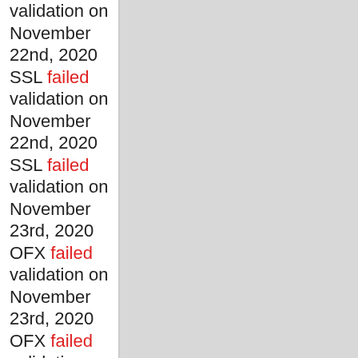validation on November 22nd, 2020 SSL failed validation on November 22nd, 2020 SSL failed validation on November 23rd, 2020 OFX failed validation on November 23rd, 2020 OFX failed validation on November 23rd, 2020